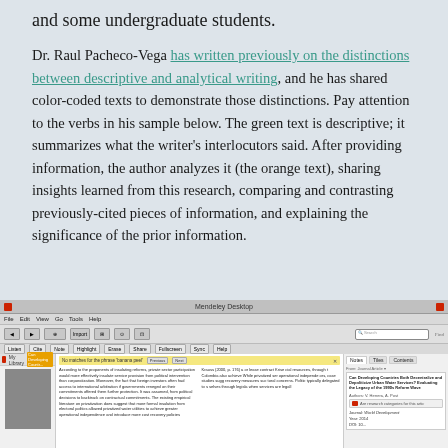and some undergraduate students.
Dr. Raul Pacheco-Vega has written previously on the distinctions between descriptive and analytical writing, and he has shared color-coded texts to demonstrate those distinctions. Pay attention to the verbs in his sample below. The green text is descriptive; it summarizes what the writer's interlocutors said. After providing information, the author analyzes it (the orange text), sharing insights learned from this research, comparing and contrasting previously-cited pieces of information, and explaining the significance of the prior information.
[Figure (screenshot): Screenshot of Mendeley Desktop application showing a journal article about developing countries decentralizing urban water services, with the document text visible in the main reading pane and article metadata in the right panel.]